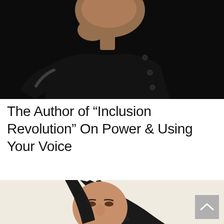[Figure (photo): Close-up portrait of a person wearing a black sweater with buttons, hand raised near their chin, against a dark background]
The Author of “Inclusion Revolution” On Power & Using Your Voice
[Figure (photo): Portrait of a woman with dark hair against a light beige background, partially cropped]